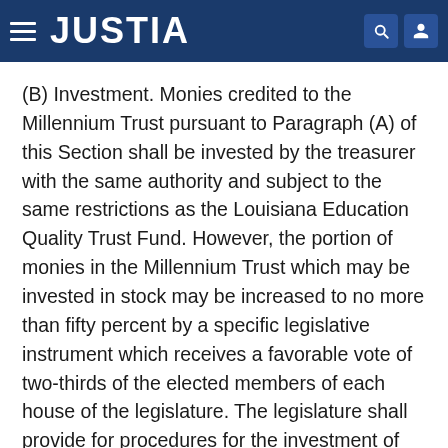JUSTIA
(B) Investment. Monies credited to the Millennium Trust pursuant to Paragraph (A) of this Section shall be invested by the treasurer with the same authority and subject to the same restrictions as the Louisiana Education Quality Trust Fund. However, the portion of monies in the Millennium Trust which may be invested in stock may be increased to no more than fifty percent by a specific legislative instrument which receives a favorable vote of two-thirds of the elected members of each house of the legislature. The legislature shall provide for procedures for the investment of such monies by law. The treasurer may contract, subject to the approval of the State Bond Commission, for